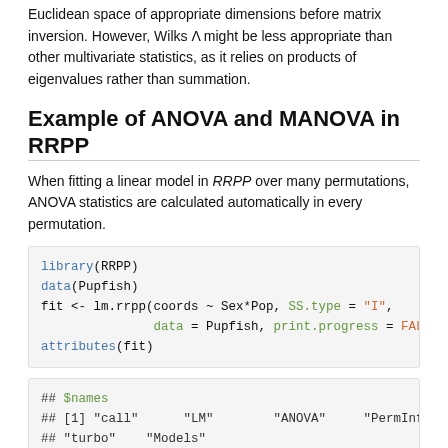Euclidean space of appropriate dimensions before matrix inversion. However, Wilks Λ might be less appropriate than other multivariate statistics, as it relies on products of eigenvalues rather than summation.
Example of ANOVA and MANOVA in RRPP
When fitting a linear model in RRPP over many permutations, ANOVA statistics are calculated automatically in every permutation.
library(RRPP)
data(Pupfish)
fit <- lm.rrpp(coords ~ Sex*Pop, SS.type = "I",
               data = Pupfish, print.progress = FALSE)
attributes(fit)
## $names
## [1] "call"      "LM"        "ANOVA"     "PermInfo"
## "turbo"    "Models"
##